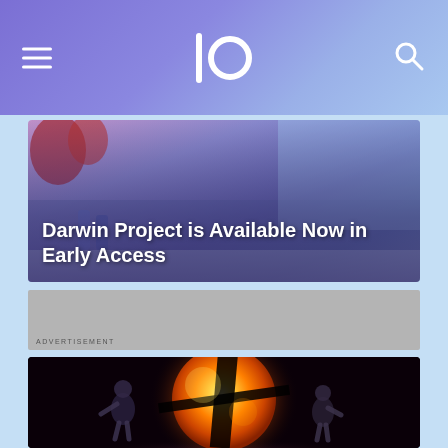IO — navigation bar with hamburger menu, IO logo, and search icon
[Figure (screenshot): Darwin Project game screenshot showing players in a snow/purple environment]
Darwin Project is Available Now in Early Access
[Figure (screenshot): Grey advertisement placeholder area]
[Figure (screenshot): Super Smash Bros game screenshot showing the iconic Smash ball logo glowing orange on dark background with two fighters]